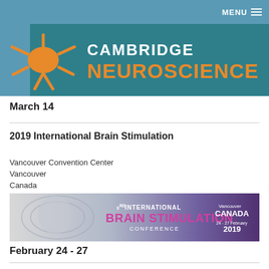MENU
[Figure (logo): Cambridge Neuroscience logo banner with teal background, orange neuron graphic, and text CAMBRIDGE NEUROSCIENCE]
March 14
2019 International Brain Stimulation
Vancouver Convention Center
Vancouver
Canada
[Figure (illustration): 3rd International Brain Stimulation Conference banner with purple/grey gradient, brain imagery, text: 3rd INTERNATIONAL BRAIN STIMULATION CONFERENCE, Vancouver CANADA 24-27 February 2019]
February 24 - 27